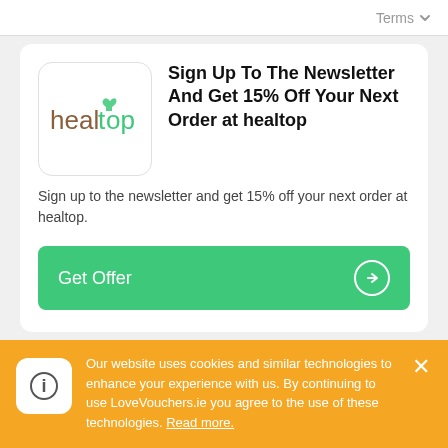Terms
Sign Up To The Newsletter And Get 15% Off Your Next Order at healtop
Sign up to the newsletter and get 15% off your next order at healtop.
Get Offer
Expired healtop vouchers – they may
Our website uses cookies and similar technologies to enhance your experience with us. By continuing to use LoveVouchers.ie you agree to the use of these technologies. Read more.